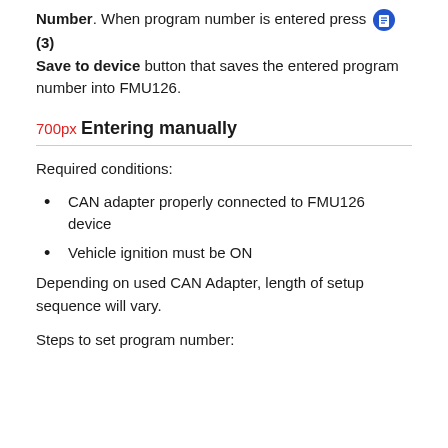Number. When program number is entered press (3) Save to device button that saves the entered program number into FMU126.
700px
Entering manually
Required conditions:
CAN adapter properly connected to FMU126 device
Vehicle ignition must be ON
Depending on used CAN Adapter, length of setup sequence will vary.
Steps to set program number: